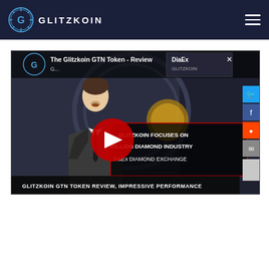[Figure (logo): Glitzkoin logo with circular gear icon and text GLITZKOIN in white on dark navy header background]
[Figure (screenshot): YouTube video thumbnail for 'The Glitzkoin GTN Token - Review' showing a man in a suit, a YouTube play button, overlaid text reading 'GLITZKOIN FOCUSES ON BILLION DIAMOND INDUSTRY DiaEx DIAMOND EXCHANGE', a DiaEx/Glitzkoin branded overlay in top right, bottom banner reading 'GLITZKOIN GTN TOKEN REVIEW, IMPRESSIVE PERFORMANCE', and social media share buttons on the right side (Twitter, Facebook, Reddit, Email).]